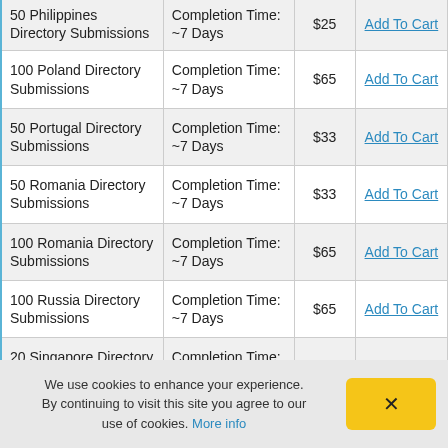| Service | Completion Time | Price | Action |
| --- | --- | --- | --- |
| 50 Philippines Directory Submissions | Completion Time: ~7 Days | $25 | Add To Cart |
| 100 Poland Directory Submissions | Completion Time: ~7 Days | $65 | Add To Cart |
| 50 Portugal Directory Submissions | Completion Time: ~7 Days | $33 | Add To Cart |
| 50 Romania Directory Submissions | Completion Time: ~7 Days | $33 | Add To Cart |
| 100 Romania Directory Submissions | Completion Time: ~7 Days | $65 | Add To Cart |
| 100 Russia Directory Submissions | Completion Time: ~7 Days | $65 | Add To Cart |
| 20 Singapore Directory Submissions | Completion Time: ~7 Days | $18 | Add To Cart |
| 50 Singapore Directory Submissions | Completion Time: ~7 Days | $33 | Add To Cart |
| 30 South Africa Directory Submissions | Completion Time: ~7 Days | $25 | Add To Cart |
We use cookies to enhance your experience. By continuing to visit this site you agree to our use of cookies. More info